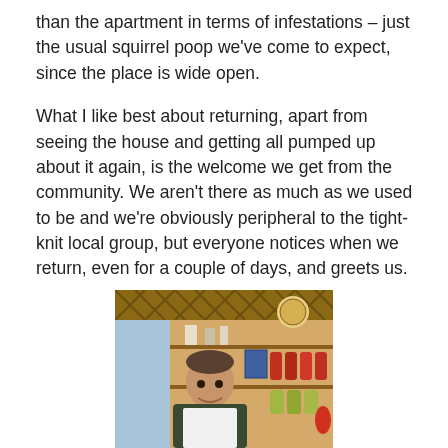than the apartment in terms of infestations – just the usual squirrel poop we've come to expect, since the place is wide open.
What I like best about returning, apart from seeing the house and getting all pumped up about it again, is the welcome we get from the community. We aren't there as much as we used to be and we're obviously peripheral to the tight-knit local group, but everyone notices when we return, even for a couple of days, and greets us.
[Figure (photo): A man wearing a white apron standing in what appears to be a small shop or deli with wooden shelves stocked with jars and products behind him.]